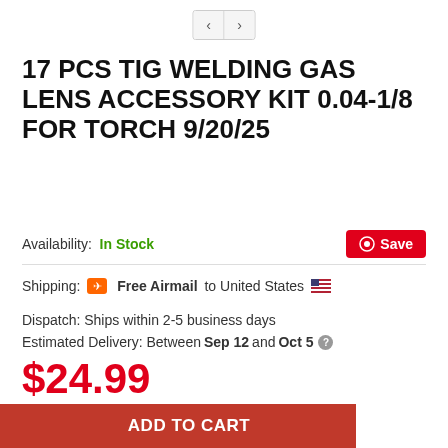[Figure (other): Navigation arrows: left chevron and right chevron in a bordered button group]
17 PCS TIG WELDING GAS LENS ACCESSORY KIT 0.04-1/8 FOR TORCH 9/20/25
Availability: In Stock
[Figure (other): Pinterest Save button in red]
Shipping: ✈ Free Airmail to United States 🇺🇸
Dispatch: Ships within 2-5 business days
Estimated Delivery: Between Sep 12 and Oct 5
$24.99
- 1 +
ADD TO CART